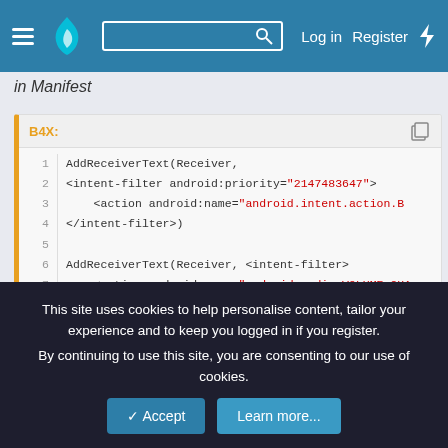Log in  Register
in Manifest
[Figure (screenshot): B4X code block showing AddReceiverText with intent-filter XML snippets, lines 1-8]
Last edited: May 9, 2018
This site uses cookies to help personalise content, tailor your experience and to keep you logged in if you register.
By continuing to use this site, you are consenting to our use of cookies.
✓ Accept    Learn more...